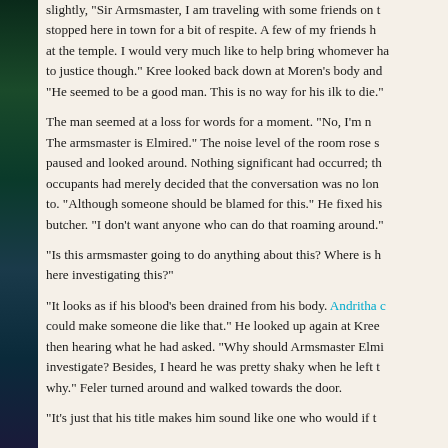slightly, "Sir Armsmaster, I am traveling with some friends on t… stopped here in town for a bit of respite. A few of my friends h… at the temple. I would very much like to help bring whomever ha… to justice though." Kree looked back down at Moren's body and "He seemed to be a good man. This is no way for his ilk to die."
The man seemed at a loss for words for a moment. "No, I'm n… The armsmaster is Elmired." The noise level of the room rose s… paused and looked around. Nothing significant had occurred; th… occupants had merely decided that the conversation was no lon… to. "Although someone should be blamed for this." He fixed his butcher. "I don't want anyone who can do that roaming around."
"Is this armsmaster going to do anything about this? Where is h… here investigating this?"
"It looks as if his blood's been drained from his body. Andritha c… could make someone die like that." He looked up again at Kree… then hearing what he had asked. "Why should Armsmaster Elmi… investigate? Besides, I heard he was pretty shaky when he left t… why." Feler turned around and walked towards the door.
"It's just that his title makes him sound like one who would if t…